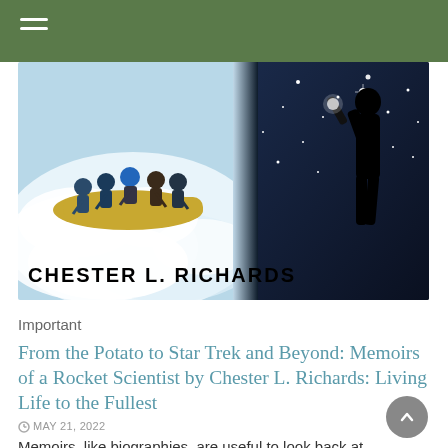[Figure (photo): Book cover image for 'From the Potato to Star Trek and Beyond' by Chester L. Richards. Left half shows a group of people white-water rafting in churning white rapids. Right half shows a silhouetted musician playing an instrument against a dark starry night sky. The author name 'CHESTER L. RICHARDS' is displayed in bold black text at the bottom left of the image.]
Important
From the Potato to Star Trek and Beyond: Memoirs of a Rocket Scientist by Chester L. Richards: Living Life to the Fullest
MAY 21, 2022
Memoirs, like biographies, are useful to look back at